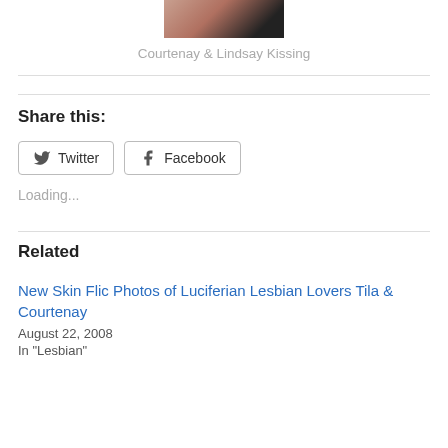[Figure (photo): Partial photo of two people kissing, cropped at top of page]
Courtenay & Lindsay Kissing
Share this:
Twitter
Facebook
Loading...
Related
New Skin Flic Photos of Luciferian Lesbian Lovers Tila & Courtenay
August 22, 2008
In "Lesbian"